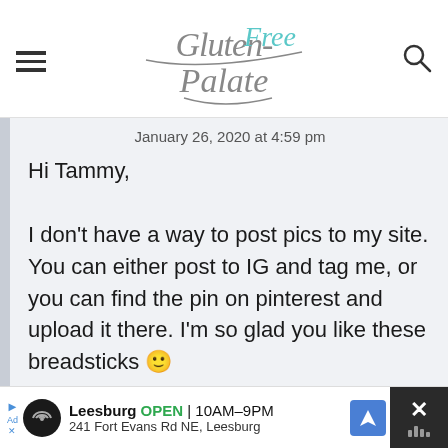[Figure (logo): Gluten-Free Palate script logo with teal and gray lettering]
January 26, 2020 at 4:59 pm
Hi Tammy,

I don't have a way to post pics to my site. You can either post to IG and tag me, or you can find the pin on pinterest and upload it there. I'm so glad you like these breadsticks 🙂

Best,
[Figure (screenshot): Ad banner: Leesburg OPEN 10AM-9PM, 241 Fort Evans Rd NE, Leesburg with navigation icon and close button]